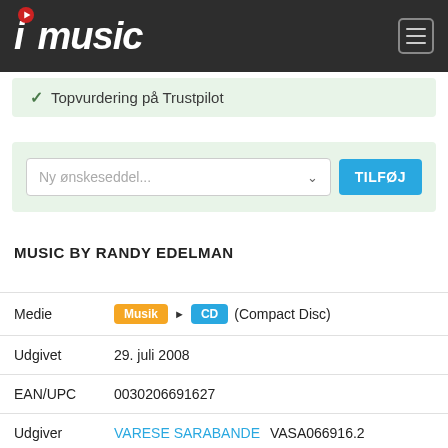imusic
✓ Topvurdering på Trustpilot
Ny ønskeseddel... TILFØJ
MUSIC BY RANDY EDELMAN
| Field | Value |
| --- | --- |
| Medie | Musik ▶ CD (Compact Disc) |
| Udgivet | 29. juli 2008 |
| EAN/UPC | 0030206691627 |
| Udgiver | VARESE SARABANDE VASA066916.2 |
| Genre | Soundtrack |